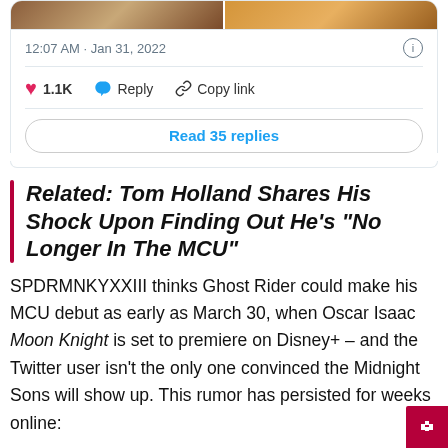[Figure (screenshot): Two comic book style images side by side at the top of a tweet card]
12:07 AM · Jan 31, 2022
♥ 1.1K   Reply   Copy link
Read 35 replies
Related: Tom Holland Shares His Shock Upon Finding Out He's "No Longer In The MCU"
SPDRMNKYXXIII thinks Ghost Rider could make his MCU debut as early as March 30, when Oscar Isaac Moon Knight is set to premiere on Disney+ – and the Twitter user isn't the only one convinced the Midnight Sons will show up. This rumor has persisted for weeks online: